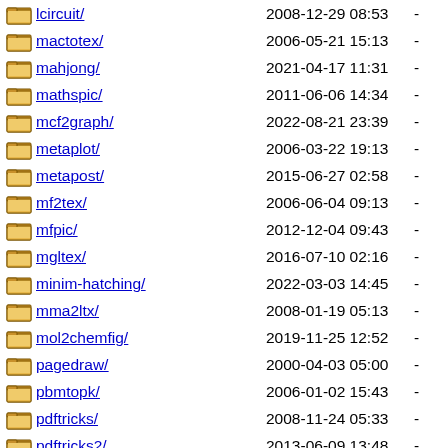lcircuit/ 2008-12-29 08:53 -
mactotex/ 2006-05-21 15:13 -
mahjong/ 2021-04-17 11:31 -
mathspic/ 2011-06-06 14:34 -
mcf2graph/ 2022-08-21 23:39 -
metaplot/ 2006-03-22 19:13 -
metapost/ 2015-06-27 02:58 -
mf2tex/ 2006-06-04 09:13 -
mfpic/ 2012-12-04 09:43 -
mgltex/ 2016-07-10 02:16 -
minim-hatching/ 2022-03-03 14:45 -
mma2ltx/ 2008-01-19 05:13 -
mol2chemfig/ 2019-11-25 12:52 -
pagedraw/ 2000-04-03 05:00 -
pbmtopk/ 2006-01-02 15:43 -
pdftricks/ 2008-11-24 05:33 -
pdftricks2/ 2013-06-09 13:48 -
pgf/ 2021-07-17 15:51 -